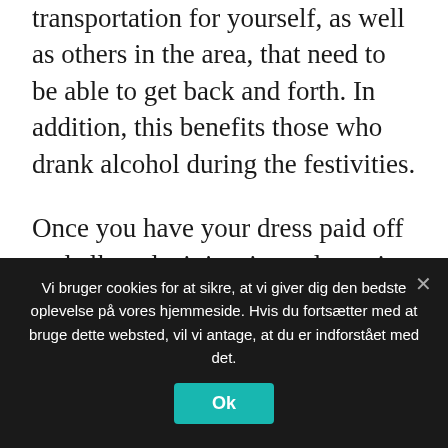transportation for yourself, as well as others in the area, that need to be able to get back and forth. In addition, this benefits those who drank alcohol during the festivities.
Once you have your dress paid off and all ready, it is wise to leave it at the store so it can be properly stored until the big day. Keeping it at home could result in staining or wrinkles. Having the bridal shop keep it will ensure that it's pressed and fresh for your special day.
Take your time in writing your vows, they're
Vi bruger cookies for at sikre, at vi giver dig den bedste oplevelse på vores hjemmeside. Hvis du fortsætter med at bruge dette websted, vil vi antage, at du er indforstået med det.
Ok